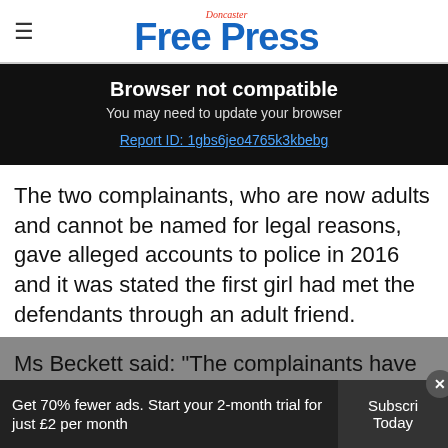Doncaster Free Press
Browser not compatible
You may need to update your browser
Report ID: 1gbs6jeo4765k3kbebg
The two complainants, who are now adults and cannot be named for legal reasons, gave alleged accounts to police in 2016 and it was stated the first girl had met the defendants through an adult friend.
Ms Beckett said: "The complainants have give...
Get 70% fewer ads. Start your 2-month trial for just £2 per month   Subscribe Today